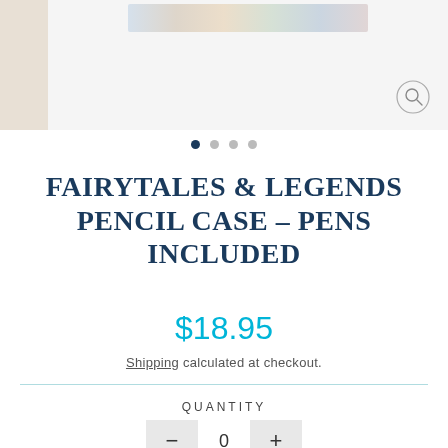[Figure (photo): Product image area showing a fairytales and legends pencil case with illustrated banner, displayed with a light wood-toned left panel and main product image area. A search/zoom icon is visible in the top right.]
[Figure (other): Pagination dots showing 4 dots, first one filled/active in dark navy, rest in light grey]
FAIRYTALES & LEGENDS PENCIL CASE – PENS INCLUDED
$18.95
Shipping calculated at checkout.
QUANTITY
0